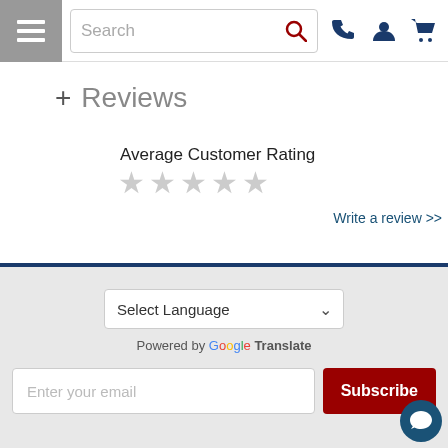Search
+ Reviews
Average Customer Rating
★★★★★ (empty stars)
Write a review >>
Select Language
Powered by Google Translate
Enter your email
Subscribe